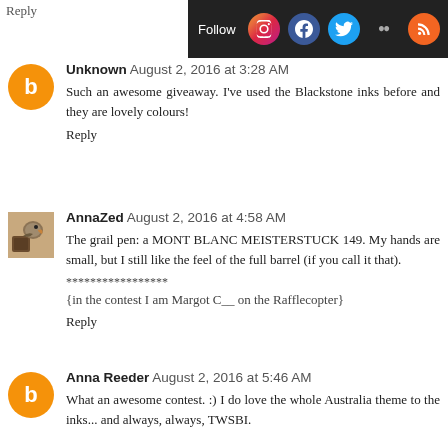Reply
[Figure (screenshot): Social media follow bar with Follow text and icons for Instagram, Facebook, Twitter, Flickr, RSS]
Unknown  August 2, 2016 at 3:28 AM
Such an awesome giveaway. I've used the Blackstone inks before and they are lovely colours!
Reply
AnnaZed  August 2, 2016 at 4:58 AM
The grail pen: a MONT BLANC MEISTERSTUCK 149. My hands are small, but I still like the feel of the full barrel (if you call it that).
*****************
{in the contest I am Margot C__ on the Rafflecopter}
Reply
Anna Reeder  August 2, 2016 at 5:46 AM
What an awesome contest. :) I do love the whole Australia theme to the inks... and always, always, TWSBI.